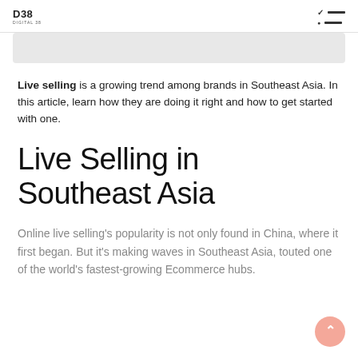D38 DIGITAL38
Live selling is a growing trend among brands in Southeast Asia. In this article, learn how they are doing it right and how to get started with one.
Live Selling in Southeast Asia
Online live selling's popularity is not only found in China, where it first began. But it's making waves in Southeast Asia, touted one of the world's fastest-growing Ecommerce hubs.